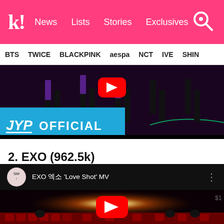k! News Lists Stories Exclusives
BTS TWICE BLACKPINK aespa NCT IVE SHINE
[Figure (screenshot): JYP Official YouTube channel thumbnail showing dancers on stage with JYP OFFICIAL branding overlay in blue]
2. EXO (962.5k)
[Figure (screenshot): EXO 'Love Shot' MV YouTube thumbnail showing a theater/cinema scene with a glowing light source and red seats, SM Entertainment channel logo]